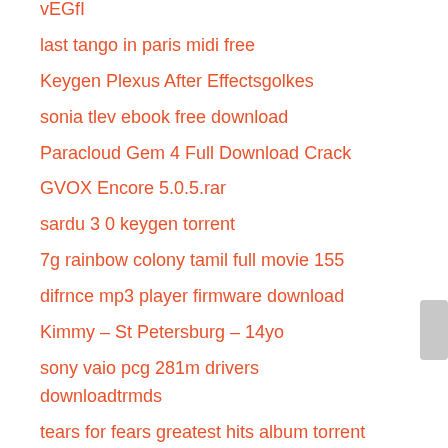vEGfI
last tango in paris midi free
Keygen Plexus After Effectsgolkes
sonia tlev ebook free download
Paracloud Gem 4 Full Download Crack
GVOX Encore 5.0.5.rar
sardu 3 0 keygen torrent
7g rainbow colony tamil full movie 155
difrnce mp3 player firmware download
Kimmy – St Petersburg – 14yo
sony vaio pcg 281m drivers downloadtrmds
tears for fears greatest hits album torrent
fallout 4 dlc esm download